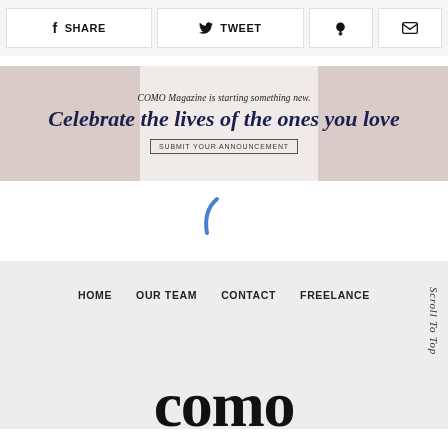f SHARE  TWEET  [pinterest icon]  [email icon]
[Figure (infographic): Banner ad for COMO Magazine with text: COMO Magazine is starting something new. Celebrate the lives of the ones you love. SUBMIT YOUR ANNOUNCEMENT. Background shows food/celebration photos on left and right sides.]
[Figure (other): Loading spinner — blue arc/curve shape indicating content loading]
HOME   OUR TEAM   CONTACT   FREELANCE   Scroll To Top
como